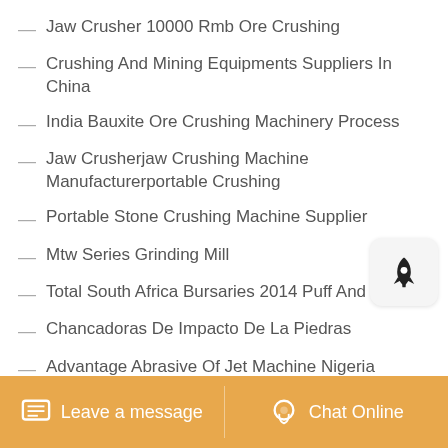Jaw Crusher 10000 Rmb Ore Crushing
Crushing And Mining Equipments Suppliers In China
India Bauxite Ore Crushing Machinery Process
Jaw Crusherjaw Crushing Machine Manufacturerportable Crushing
Portable Stone Crushing Machine Supplier
Mtw Series Grinding Mill
Total South Africa Bursaries 2014 Puff And Pass
Chancadoras De Impacto De La Piedras
Advantage Abrasive Of Jet Machine Nigeria
Crushing Stroke Cone Crusher Cone Crusher Cone